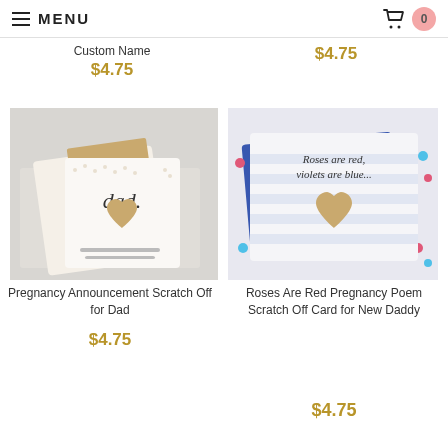MENU | basket: 0
Custom Name
$4.75
$4.75
[Figure (photo): Two white cards with gold heart scratch-off and text 'dad' on them, with a gold envelope, pregnancy announcement scratch off cards for dad]
[Figure (photo): White striped card with gold heart scratch-off reading 'Roses are red, violets are blue...' with blue envelope and colorful confetti dots]
Pregnancy Announcement Scratch Off for Dad
$4.75
Roses Are Red Pregnancy Poem Scratch Off Card for New Daddy
$4.75